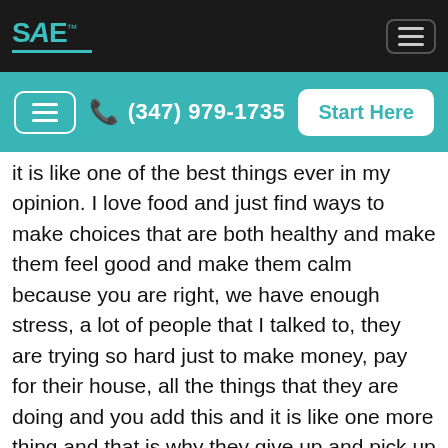SANE [logo] | (347) 979-1735 | Start Here
it is like one of the best things ever in my opinion. I love food and just find ways to make choices that are both healthy and make them feel good and make them calm because you are right, we have enough stress, a lot of people that I talked to, they are trying so hard just to make money, pay for their house, all the things that they are doing and you add this and it is like one more thing and that is why they give up and pick up frozen meals or take-out, etc. What is sad is that having great food can support you and to relax, but so much of the time people feel like it is just one more thing.